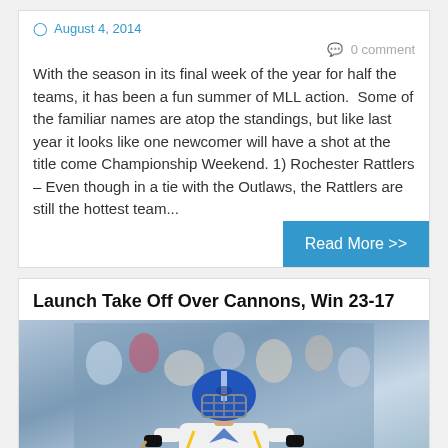August 4, 2014
0 comment
With the season in its final week of the year for half the teams, it has been a fun summer of MLL action.  Some of the familiar names are atop the standings, but like last year it looks like one newcomer will have a shot at the title come Championship Weekend. 1) Rochester Rattlers – Even though in a tie with the Outlaws, the Rattlers are still the hottest team...
Read More >>
Launch Take Off Over Cannons, Win 23-17
[Figure (photo): Lacrosse player wearing white uniform with blue and yellow accents, number 21, and a blue helmet, looking upward. Crowd visible in blurred background.]